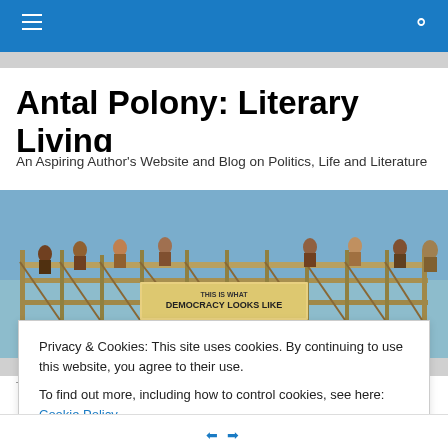Antal Polony: Literary Living
An Aspiring Author's Website and Blog on Politics, Life and Literature
[Figure (photo): People standing on a metal scaffold structure holding a banner that reads 'This is what Democracy Looks Like' against a blue sky background]
TAGGED WITH KAISER CONVENTION CENTER
Privacy & Cookies: This site uses cookies. By continuing to use this website, you agree to their use.
To find out more, including how to control cookies, see here: Cookie Policy
Close and accept